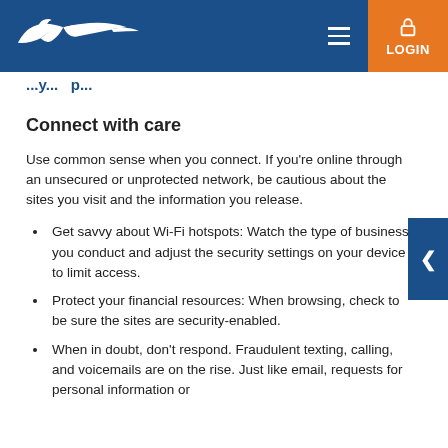[Figure (logo): USPS eagle logo in white on dark blue header bar with hamburger menu and orange LOGIN button]
...y...p...
Connect with care
Use common sense when you connect. If you're online through an unsecured or unprotected network, be cautious about the sites you visit and the information you release.
Get savvy about Wi-Fi hotspots: Watch the type of business you conduct and adjust the security settings on your device to limit access.
Protect your financial resources: When browsing, check to be sure the sites are security-enabled.
When in doubt, don't respond. Fraudulent texting, calling, and voicemails are on the rise. Just like email, requests for personal information or